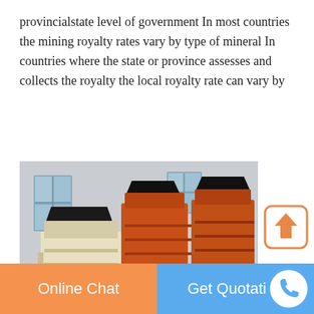provincialstate level of government In most countries the mining royalty rates vary by type of mineral In countries where the state or province assesses and collects the royalty the local royalty rate can vary by
[Figure (photo): Industrial mining crushers or impact crushers photographed outdoors in front of a factory building. One beige/cream colored machine on the left and two orange/rust colored machines on the right.]
[Figure (other): Upload/scroll-to-top button icon: orange rounded square with an upward arrow]